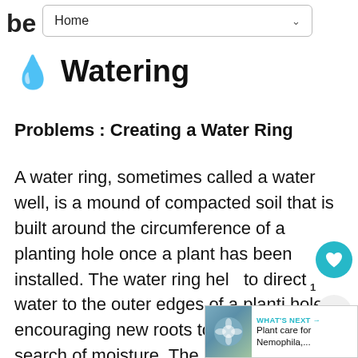be
Home
💧 Watering
Problems : Creating a Water Ring
A water ring, sometimes called a water well, is a mound of compacted soil that is built around the circumference of a planting hole once a plant has been installed. The water ring helps to direct water to the outer edges of a planting hole, encouraging new roots to grow outward in search of moisture. The height of the mound of soil will vary from a couple of inches for gallon shrubs, to almost a foot for balled and burlapped trees, especially those planted in
[Figure (screenshot): Floating UI overlay with heart/favorite button (teal circle), share button, badge count '1', and 'WHAT'S NEXT' card showing 'Plant care for Nemophila,...' with a flower image thumbnail]